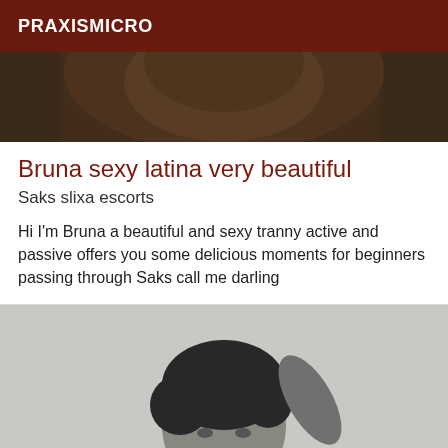PRAXISMICRO
[Figure (photo): Partial top portion of a person photo, cropped, dark tones]
Bruna sexy latina very beautiful
Saks slixa escorts
Hi I'm Bruna a beautiful and sexy tranny active and passive offers you some delicious moments for beginners passing through Saks call me darling
[Figure (photo): Black and white photo of a man with dark hair running his hand through his hair, looking at camera]